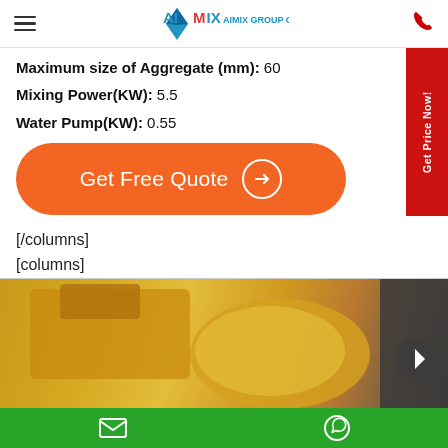AIMIX GROUP CO., LTD
Maximum size of Aggregate (mm): 60
Mixing Power(KW): 5.5
Water Pump(KW): 0.55
Get Free Quote →
Get Price Now!
[/columns]
[columns]
[Figure (photo): Yellow concrete mixer machine photographed outdoors, showing drum and hopper]
Email and WhatsApp contact icons